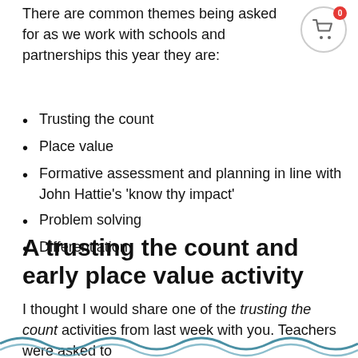There are common themes being asked for as we work with schools and partnerships this year they are:
Trusting the count
Place value
Formative assessment and planning in line with John Hattie's 'know thy impact'
Problem solving
Differentiation
A trusting the count and early place value activity
I thought I would share one of the trusting the count activities from last week with you. Teachers were asked to